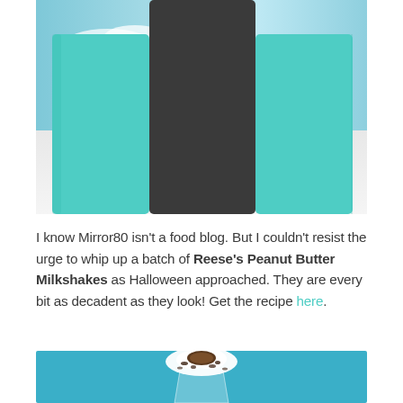[Figure (photo): Close-up photo of two teal/mint colored bookends with a dark grey center column, set against a light blue sky background with clouds and a white surface below.]
I know Mirror80 isn't a food blog. But I couldn't resist the urge to whip up a batch of Reese's Peanut Butter Milkshakes as Halloween approached. They are every bit as decadent as they look! Get the recipe here.
[Figure (photo): Bottom portion of a Reese's Peanut Butter Milkshake in a glass with whipped cream topping and a Reese's cup on top, set against a bright blue background.]